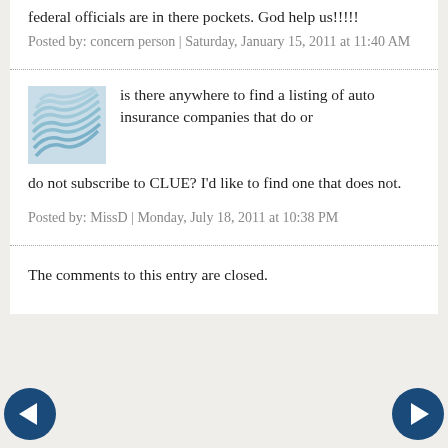federal officials are in there pockets. God help us!!!!!
Posted by: concern person | Saturday, January 15, 2011 at 11:40 AM
is there anywhere to find a listing of auto insurance companies that do or do not subscribe to CLUE? I'd like to find one that does not.
Posted by: MissD | Monday, July 18, 2011 at 10:38 PM
The comments to this entry are closed.